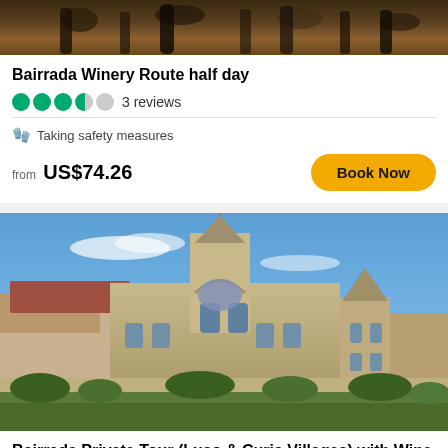[Figure (photo): Top portion of winery/bottles image, partially cropped]
Bairrada Winery Route half day
3 reviews (3.5 stars out of 5)
Taking safety measures
from US$74.26
Book Now
[Figure (photo): Ornate stone palace/castle with Gothic architecture, towers, and decorative facade under blue sky with green shrubs in foreground]
Bairrada Private Tour (Luso & Curia Villages) with Wine Tasting